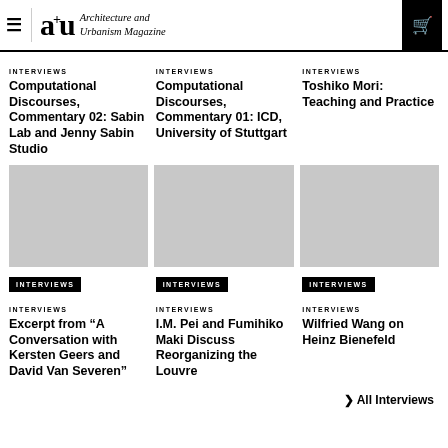a+u Architecture and Urbanism Magazine
INTERVIEWS
Computational Discourses, Commentary 02: Sabin Lab and Jenny Sabin Studio
INTERVIEWS
Computational Discourses, Commentary 01: ICD, University of Stuttgart
INTERVIEWS
Toshiko Mori: Teaching and Practice
INTERVIEWS
INTERVIEWS
INTERVIEWS
INTERVIEWS
Excerpt from “A Conversation with Kersten Geers and David Van Severen”
INTERVIEWS
I.M. Pei and Fumihiko Maki Discuss Reorganizing the Louvre
INTERVIEWS
Wilfried Wang on Heinz Bienefeld
> All Interviews